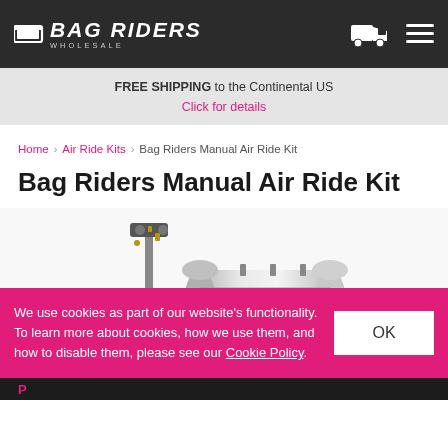BAG RIDERS WHOLESALE
FREE SHIPPING to the Continental US
Click for details
Home > Air Ride Kits > Bag Riders Manual Air Ride Kit
Bag Riders Manual Air Ride Kit
[Figure (photo): Air ride suspension kit components including black air bag strut assembly and chrome cylindrical air tank with fittings and pressure gauge]
We use cookies as part of our website’s functionality. To learn more about cookies, how we use them, and how to disable them, please see our Cookie Policy.